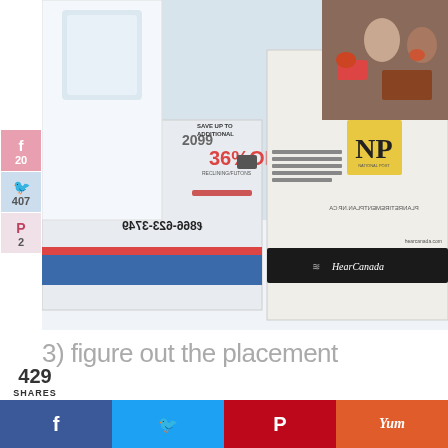[Figure (photo): Close-up photo of a newspaper open to a page showing ads including a Hear Canada ad with phone number 866-623-3749 and a hockey promotion offering 36% off. The newspaper is sitting on a white surface.]
20
407
2
429
SHARES
3) figure out the placement
[Figure (infographic): Bottom share bar with Facebook, Twitter, Pinterest, and Yummly buttons]